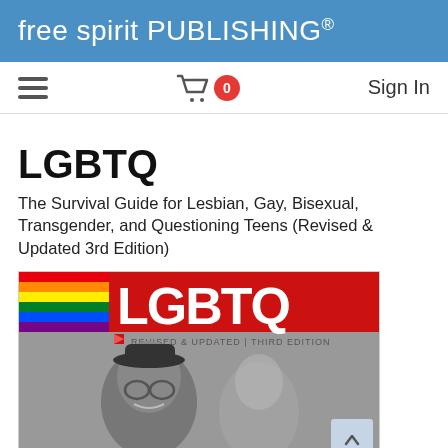free spirit PUBLISHING®
[Figure (screenshot): Navigation bar with hamburger menu, shopping cart icon with red badge showing '0', and 'Sign In' text]
LGBTQ
The Survival Guide for Lesbian, Gay, Bisexual, Transgender, and Questioning Teens (Revised & Updated 3rd Edition)
[Figure (photo): Book cover of LGBTQ: The Survival Guide, showing a rainbow flag on the left, large red LGBTQ letters on top, text 'REVISED & UPDATED | THIRD EDITION', and a smiling young person wearing glasses and a hat in black and white photo]